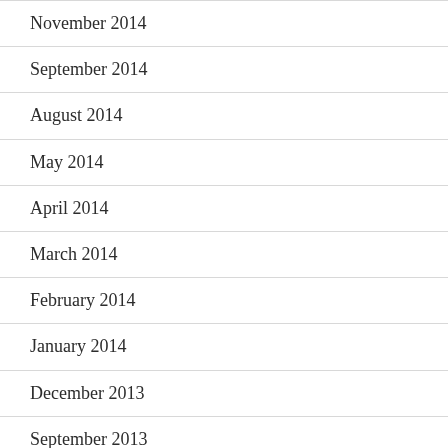November 2014
September 2014
August 2014
May 2014
April 2014
March 2014
February 2014
January 2014
December 2013
September 2013
August 2013